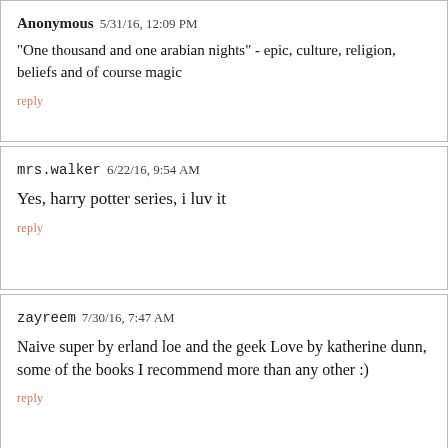Anonymous 5/31/16, 12:09 PM
"One thousand and one arabian nights" - epic, culture, religion, beliefs and of course magic
reply
mrs.walker 6/22/16, 9:54 AM
Yes, harry potter series, i luv it
reply
zayreem 7/30/16, 7:47 AM
Naive super by erland loe and the geek Love by katherine dunn, some of the books I recommend more than any other :)
reply